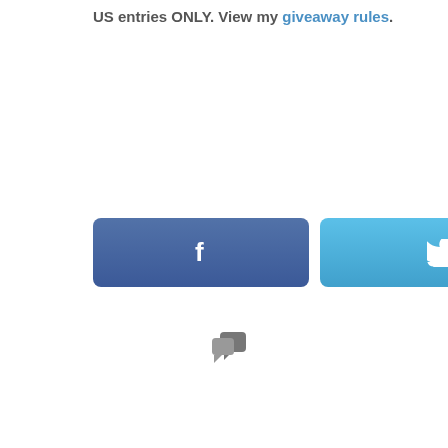US entries ONLY. View my giveaway rules.
[Figure (other): Three social share buttons: Facebook (dark blue with f icon), Twitter (light blue with bird icon), Email (green with envelope icon)]
[Figure (other): Comment/speech bubble icon in gray]
[Figure (photo): Photo of Kristin, a woman with long dark wavy hair, smiling, wearing a white top, used as author profile picture]
ABOUT KRISTIN
Hi, I'm Kristin a now single mom of three. Our Ordinary Life is a